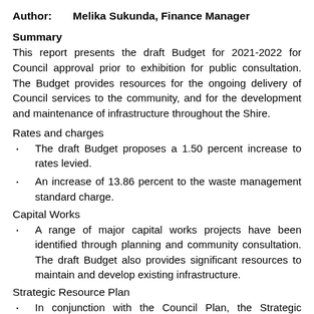Author:      Melika Sukunda, Finance Manager
Summary
This report presents the draft Budget for 2021-2022 for Council approval prior to exhibition for public consultation. The Budget provides resources for the ongoing delivery of Council services to the community, and for the development and maintenance of infrastructure throughout the Shire.
Rates and charges
The draft Budget proposes a 1.50 percent increase to rates levied.
An increase of 13.86 percent to the waste management standard charge.
Capital Works
A range of major capital works projects have been identified through planning and community consultation. The draft Budget also provides significant resources to maintain and develop existing infrastructure.
Strategic Resource Plan
In conjunction with the Council Plan, the Strategic Resource Plan has also been prepared for the next ten